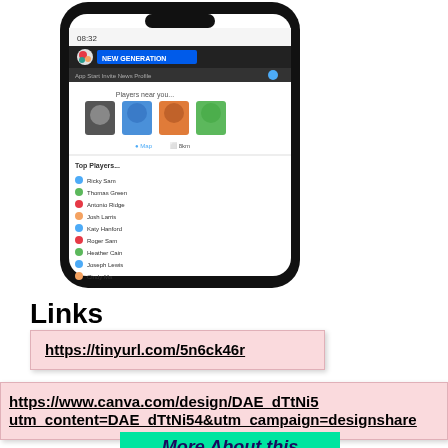[Figure (screenshot): Mobile phone screenshot showing a 'New Generation' app with players near you and a top players leaderboard list]
Links
https://tinyurl.com/5n6ck46r
https://www.canva.com/design/DAE_dTtNi5... utm_content=DAE_dTtNi54&utm_campaign=designshare...
More About this Project